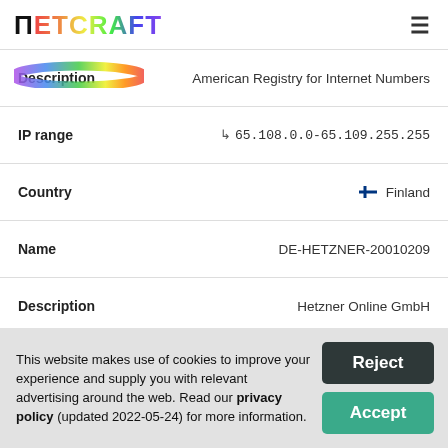Netcraft
| Field | Value |
| --- | --- |
| Description | American Registry for Internet Numbers |
| IP range | ↳ 65.108.0.0-65.109.255.255 |
| Country | 🇫🇮 Finland |
| Name | DE-HETZNER-20010209 |
| Description | Hetzner Online GmbH |
| IP range | ↳ 65.108.108.217 |
| Country | 🇫🇮 Finland |
This website makes use of cookies to improve your experience and supply you with relevant advertising around the web. Read our privacy policy (updated 2022-05-24) for more information.